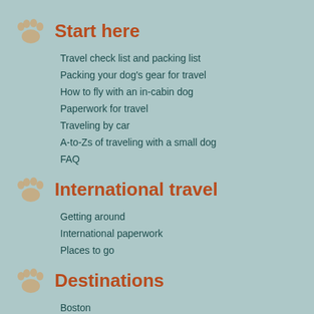Start here
Travel check list and packing list
Packing your dog's gear for travel
How to fly with an in-cabin dog
Paperwork for travel
Traveling by car
A-to-Zs of traveling with a small dog
FAQ
International travel
Getting around
International paperwork
Places to go
Destinations
Boston
Chicago